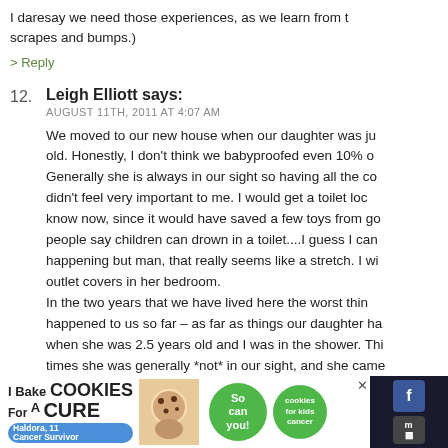I daresay we need those experiences, as we learn from scrapes and bumps.)
> Reply
12. Leigh Elliott says: AUGUST 11TH, 2011 AT 4:07 AM
We moved to our new house when our daughter was just old. Honestly, I don't think we babyproofed even 10% of it. Generally she is always in our sight so having all the covers didn't feel very important to me. I would get a toilet lock now, since it would have saved a few toys from going down. people say children can drown in a toilet....I guess I can see it happening but man, that really seems like a stretch. I will put outlet covers in her bedroom. In the two years that we have lived here the worst thing happened to us so far – as far as things our daughter has done – when she was 2.5 years old and I was in the shower. This was times she was generally *not* in our sight, and she came...
[Figure (advertisement): I Bake COOKIES For A CURE advertisement with Haldora, 11 Cancer Survivor and green cookies badge]